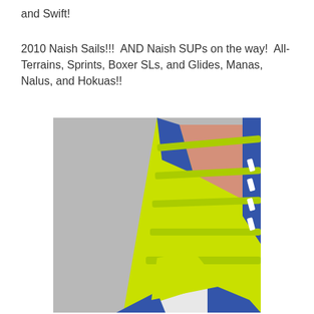and Swift!
2010 Naish Sails!!!  AND Naish SUPs on the way!  All-Terrains, Sprints, Boxer SLs, and Glides, Manas, Nalus, and Hokuas!!
[Figure (photo): Photo of a windsurfing sail in yellow-green (lime), pink/salmon, and blue colors, displayed flat against a light gray background. The sail shows multiple battens in lime green and a blue frame/edge, with white stripes visible on the right side.]